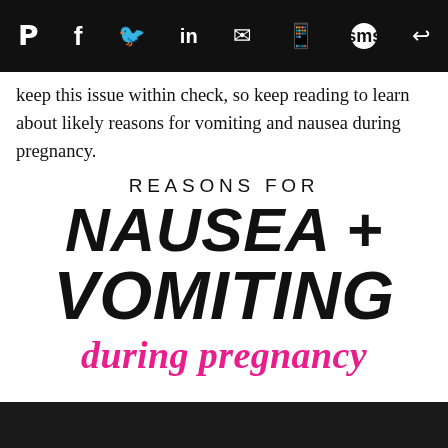Social share icons bar: Pinterest, Facebook, Twitter, LinkedIn, Email, WhatsApp, SMS, Copy link
keep this issue within check, so keep reading to learn about likely reasons for vomiting and nausea during pregnancy.
[Figure (infographic): Infographic title graphic reading: REASONS FOR NAUSEA + VOMITING during pregnancy, in bold black uppercase and pink italic script lettering on white background]